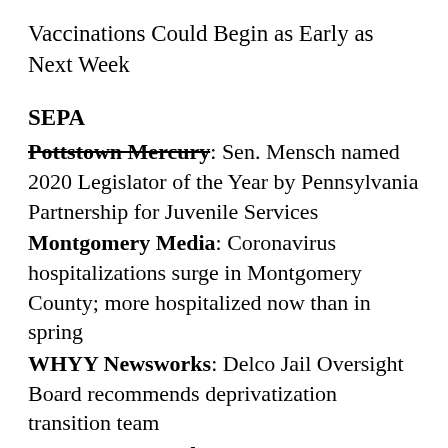Vaccinations Could Begin as Early as Next Week
SEPA
Pottstown Mercury: Sen. Mensch named 2020 Legislator of the Year by Pennsylvania Partnership for Juvenile Services
Montgomery Media: Coronavirus hospitalizations surge in Montgomery County; more hospitalized now than in spring
WHYY Newsworks: Delco Jail Oversight Board recommends deprivatization transition team
WHYY Newsworks: Pa. coronavirus update: Montgomery County coronavirus hospitalizations rise
Delco Daily Times: Scanlon seeks to ...